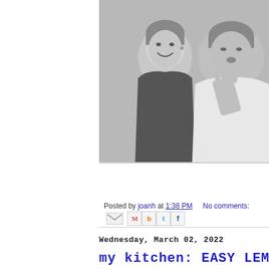[Figure (photo): Black and white photograph of two Asian men, one smiling toward camera in a dark hoodie with an earpiece, the other in a white shirt making a gesture with his hand. Indoor restaurant/bar setting with wooden background.]
Posted by joanh at 1:38 PM   No comments:
Wednesday, March 02, 2022
my kitchen: EASY LEMON KALE